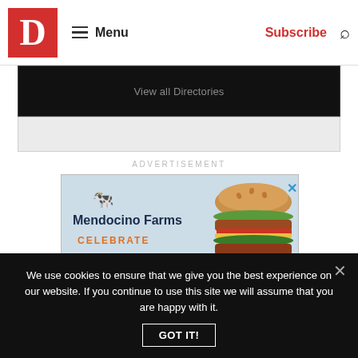D | Menu | Subscribe
View all Directories
ADVERTISEMENT
[Figure (illustration): Mendocino Farms advertisement showing brand logo with cow illustration, text 'CELEBRATE NATIONAL SANDWICH MONTH' and a stacked sandwich photo on the right side]
We use cookies to ensure that we give you the best experience on our website. If you continue to use this site we will assume that you are happy with it.
GOT IT!